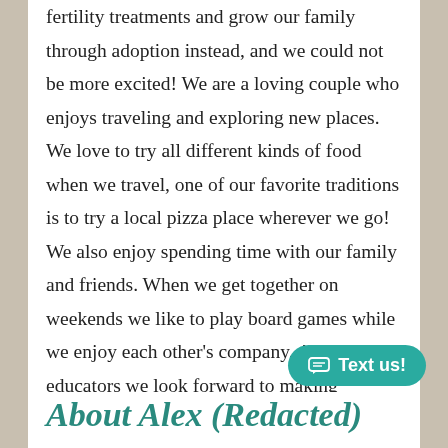fertility treatments and grow our family through adoption instead, and we could not be more excited! We are a loving couple who enjoys traveling and exploring new places. We love to try all different kinds of food when we travel, one of our favorite traditions is to try a local pizza place wherever we go! We also enjoy spending time with our family and friends. When we get together on weekends we like to play board games while we enjoy each other's company. As natural educators we look forward to making education a priority in your child's life. We hope to inspire their curiosity of the outdoors, as well a love for adventure.
About Alex (Redacted)